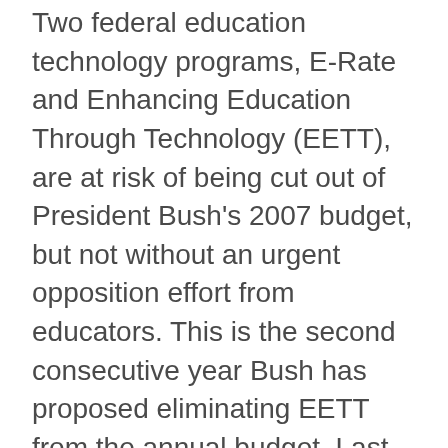Two federal education technology programs, E-Rate and Enhancing Education Through Technology (EETT), are at risk of being cut out of President Bush's 2007 budget, but not without an urgent opposition effort from educators. This is the second consecutive year Bush has proposed eliminating EETT from the annual budget. Last year, faithful lobbying by education technology professionals from districts nationwide got the program restored to the 2006budget.
In early March, the International Society for Technology in Education (ISTE), Consortium for School Networking (CoSN), the Software and Information Industry Association (SIIA), and more than 150 ed-tech decision- makers from across the United States met with members of Congress